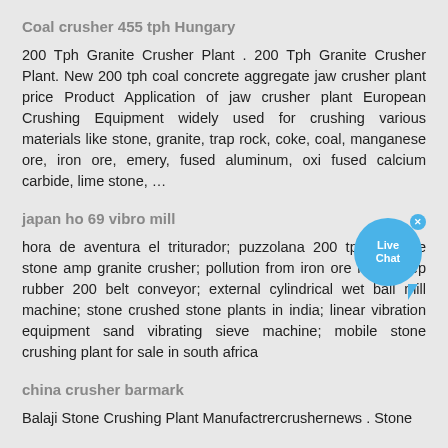Coal crusher 455 tph Hungary
200 Tph Granite Crusher Plant . 200 Tph Granite Crusher Plant. New 200 tph coal concrete aggregate jaw crusher plant price Product Application of jaw crusher plant European Crushing Equipment widely used for crushing various materials like stone, granite, trap rock, coke, coal, manganese ore, iron ore, emery, fused aluminum, oxide fused calcium carbide, lime stone, …
japan ho 69 vibro mill
hora de aventura el triturador; puzzolana 200 tph 2 stage stone amp granite crusher; pollution from iron ore mining; ep rubber 200 belt conveyor; external cylindrical wet ball mill machine; stone crushed stone plants in india; linear vibration equipment sand vibrating sieve machine; mobile stone crushing plant for sale in south africa
china crusher barmark
Balaji Stone Crushing Plant Manufactrercrushernews . Stone